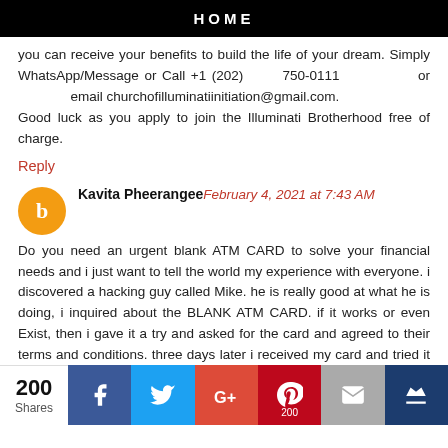HOME
you can receive your benefits to build the life of your dream. Simply WhatsApp/Message or Call +1 (202) 750-0111 or email churchofilluminatiinitiation@gmail.com.
Good luck as you apply to join the Illuminati Brotherhood free of charge.
Reply
Kavita Pheerangee
February 4, 2021 at 7:43 AM
Do you need an urgent blank ATM CARD to solve your financial needs and i just want to tell the world my experience with everyone. i discovered a hacking guy called Mike. he is really good at what he is doing, i inquired about the BLANK ATM CARD. if it works or even Exist, then i gave it a try and asked for the card and agreed to their terms and conditions. three days later i received my card and tried it with the closest ATM machine close to me,
200 Shares  f  twitter  G+  P 200  mail  crown